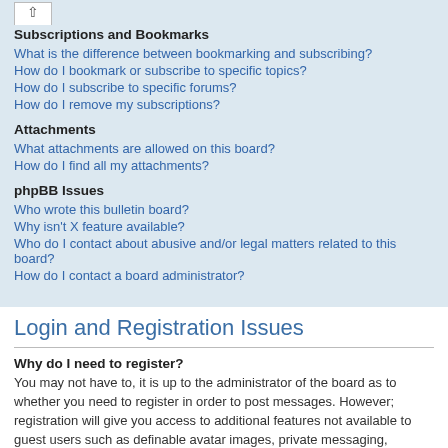Subscriptions and Bookmarks
What is the difference between bookmarking and subscribing?
How do I bookmark or subscribe to specific topics?
How do I subscribe to specific forums?
How do I remove my subscriptions?
Attachments
What attachments are allowed on this board?
How do I find all my attachments?
phpBB Issues
Who wrote this bulletin board?
Why isn't X feature available?
Who do I contact about abusive and/or legal matters related to this board?
How do I contact a board administrator?
Login and Registration Issues
Why do I need to register?
You may not have to, it is up to the administrator of the board as to whether you need to register in order to post messages. However; registration will give you access to additional features not available to guest users such as definable avatar images, private messaging, emailing of fellow users, usergroup subscription, etc. It only takes a few moments to register so it is recommended you do so.